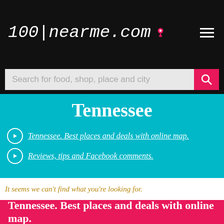100NEARME.COM
Search for food, shop, place and city
Tennessee
Tennessee. Best places and deals with online map.
Reviews, tips and Facebook comments.
It seems we can't find what you're looking for.
Tennessee. Best places and deals with online map.